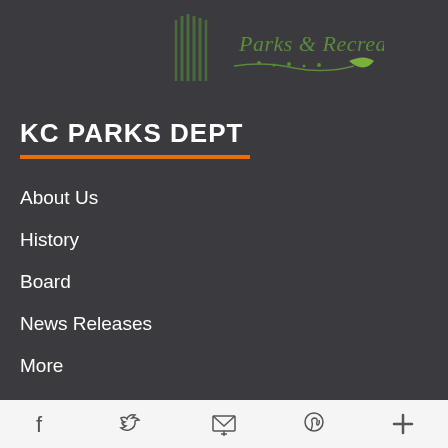[Figure (logo): Kansas City Parks & Recreation logo with green tree/leaf motif and text 'Parks & Recreation']
KC PARKS DEPT
About Us
History
Board
News Releases
More
SERVICES
Social media icons: Facebook, Twitter, Email, Pinterest, More